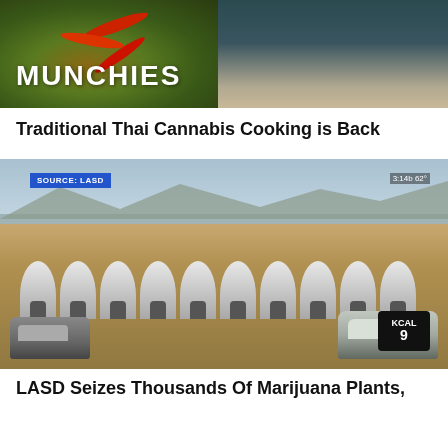[Figure (photo): Munchies banner image showing a bowl of Thai food with red chilies on the left and a person on the right, with 'MUNCHIES' text overlay]
Traditional Thai Cannabis Cooking is Back
[Figure (photo): News screenshot sourced from LASD showing rows of white greenhouse tents in a desert landscape with two cars visible and KCAL 9 news bug in corner]
LASD Seizes Thousands Of Marijuana Plants,